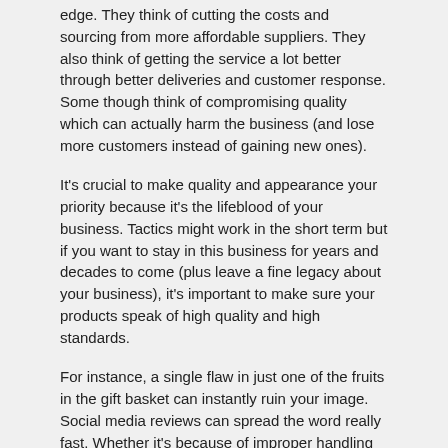edge. They think of cutting the costs and sourcing from more affordable suppliers. They also think of getting the service a lot better through better deliveries and customer response. Some though think of compromising quality which can actually harm the business (and lose more customers instead of gaining new ones).
It's crucial to make quality and appearance your priority because it's the lifeblood of your business. Tactics might work in the short term but if you want to stay in this business for years and decades to come (plus leave a fine legacy about your business), it's important to make sure your products speak of high quality and high standards.
For instance, a single flaw in just one of the fruits in the gift basket can instantly ruin your image. Social media reviews can spread the word really fast. Whether it's because of improper handling and delivery (ideal temperature range was not observed during delivery and storage, or the fruits were exposed to sunlight or freezing temperatures for too long), one bad apple will indeed ruin the bunch.
Tight temperature control plus sanitary conditions are a must